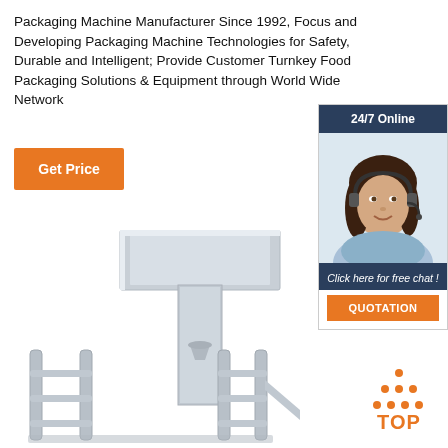Packaging Machine Manufacturer Since 1992, Focus and Developing Packaging Machine Technologies for Safety, Durable and Intelligent; Provide Customer Turnkey Food Packaging Solutions & Equipment through World Wide Network
[Figure (other): Orange 'Get Price' button]
[Figure (other): 24/7 Online chat widget showing a female customer service representative with headset, dark background header, 'Click here for free chat!' text, and orange QUOTATION button]
[Figure (photo): Stainless steel packaging machine with conveyor frame structure, metallic industrial equipment]
[Figure (other): Orange TOP icon with dots arranged in triangle pattern above the text TOP]